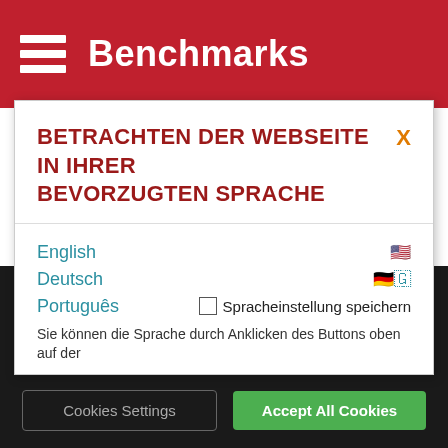Benchmarks
BETRACHTEN DER WEBSEITE IN IHRER BEVORZUGTEN SPRACHE
English
Deutsch
Português
Spracheinstellung speichern
Sie können die Sprache durch Anklicken des Buttons oben auf der
We use cookies to personalize content and ads, to provide social media features and to analyze our traffic. We also share information about your use of our site with our social media, advertising and analytics partners.
Cookies Settings
Accept All Cookies